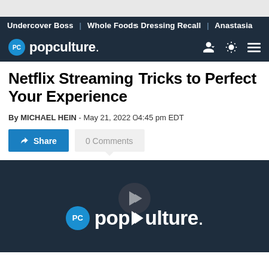Undercover Boss | Whole Foods Dressing Recall | Anastasia
[Figure (logo): Popculture.com logo with PC circle icon in navy header bar]
Netflix Streaming Tricks to Perfect Your Experience
By MICHAEL HEIN - May 21, 2022 04:45 pm EDT
Share | 0 Comments
[Figure (logo): Popculture video player with popculture logo on dark navy background]